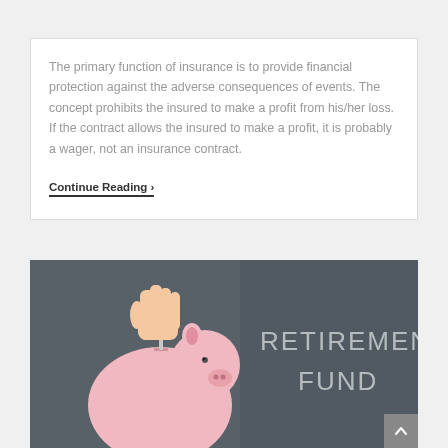The primary function of insurance is to provide financial protection against the adverse consequences of events. The concept prohibits the insured to make a profit from his/her loss. If the contract allows the insured to make a profit, it is probably a wager, not an insurance contract.
Continue Reading ›
[Figure (photo): A hand inserting a coin into a pink piggy bank against a dark chalkboard background with the words 'RETIREMENT FUND' written in chalk.]